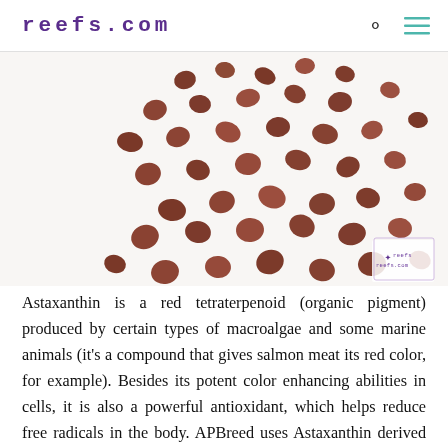reefs.com
[Figure (photo): Close-up photo of small reddish-brown fish food pellets scattered on a white background, with a small reefs.com logo watermark in the lower right corner.]
Astaxanthin is a red tetraterpenoid (organic pigment) produced by certain types of macroalgae and some marine animals (it's a compound that gives salmon meat its red color, for example). Besides its potent color enhancing abilities in cells, it is also a powerful antioxidant, which helps reduce free radicals in the body. APBreed uses Astaxanthin derived from freshwater macroalgae Haematococcus pluvialis and